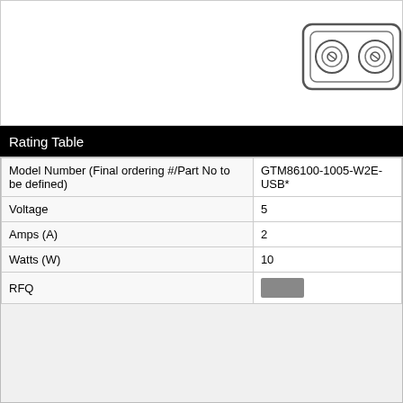[Figure (engineering-diagram): Partial view of an electrical connector or plug component showing circular terminals and housing outline, top-right corner of diagram]
Rating Table
| Model Number (Final ordering #/Part No to be defined) | GTM86100-1005-W2E-USB* |
| --- | --- |
| Voltage | 5 |
| Amps (A) | 2 |
| Watts (W) | 10 |
| RFQ |  |